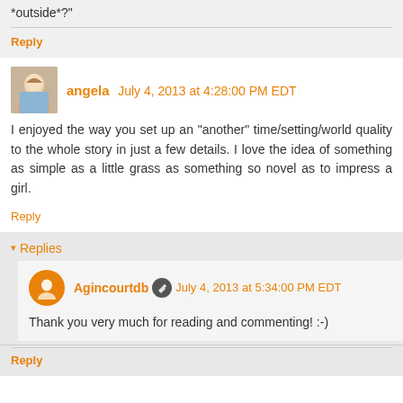*outside*?"
Reply
angela  July 4, 2013 at 4:28:00 PM EDT
I enjoyed the way you set up an "another" time/setting/world quality to the whole story in just a few details. I love the idea of something as simple as a little grass as something so novel as to impress a girl.
Reply
Replies
Agincourtdb  July 4, 2013 at 5:34:00 PM EDT
Thank you very much for reading and commenting! :-)
Reply